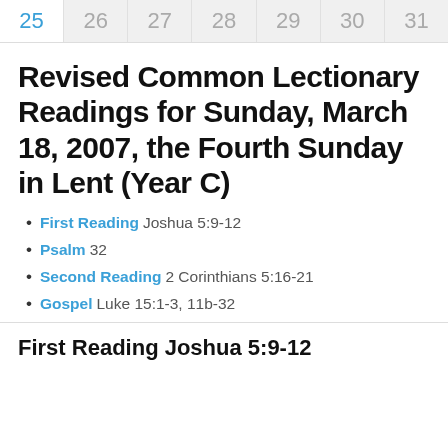25  26  27  28  29  30  31
Revised Common Lectionary Readings for Sunday, March 18, 2007, the Fourth Sunday in Lent (Year C)
First Reading Joshua 5:9-12
Psalm 32
Second Reading 2 Corinthians 5:16-21
Gospel Luke 15:1-3, 11b-32
First Reading Joshua 5:9-12